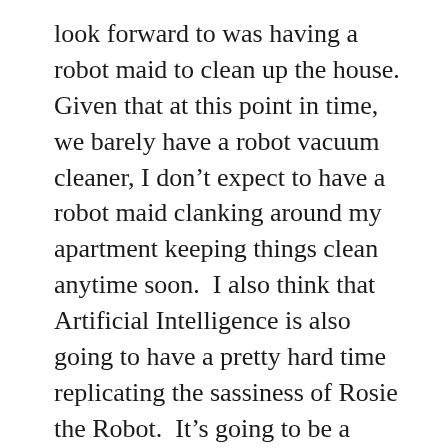look forward to was having a robot maid to clean up the house.  Given that at this point in time, we barely have a robot vacuum cleaner, I don't expect to have a robot maid clanking around my apartment keeping things clean anytime soon.  I also think that Artificial Intelligence is also going to have a pretty hard time replicating the sassiness of Rosie the Robot.  It's going to be a while before we figure out 'smart technology,' and even longer before we can have “smart-aleck technology.”
While science fiction made a lot of